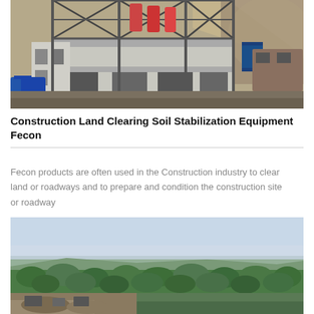[Figure (photo): Industrial construction equipment or plant structure with scaffolding, concrete building levels, steel framework, blue barrels/drums in foreground, rocky hillside in background]
Construction Land Clearing Soil Stabilization Equipment Fecon
Fecon products are often used in the Construction industry to clear land or roadways and to prepare and condition the construction site or roadway
[Figure (photo): Aerial landscape view showing dense tree/forest coverage with cleared areas and construction/quarry site in bottom-left, hazy sky above horizon]